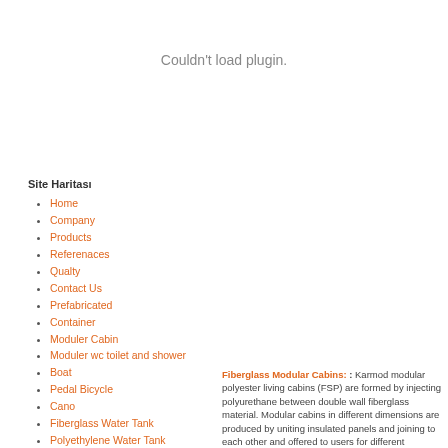Couldn't load plugin.
Site Haritası
Home
Company
Products
Referenaces
Qualty
Contact Us
Prefabricated
Container
Moduler Cabin
Moduler wc toilet and shower
Boat
Pedal Bicycle
Cano
Fiberglass Water Tank
Polyethylene Water Tank
Fiberglass Modular Cabins: : Karmod modular polyester living cabins (FSP) are formed by injecting polyurethane between double wall fiberglass material. Modular cabins in different dimensions are produced by uniting insulated panels and joining to each other and offered to users for different objectives. Besides range, portable WC and shower cabin is a special cabin series aiming commercial, construction site organizations, social facilities. We always offer modern, economic and practical solutions for our costumers.